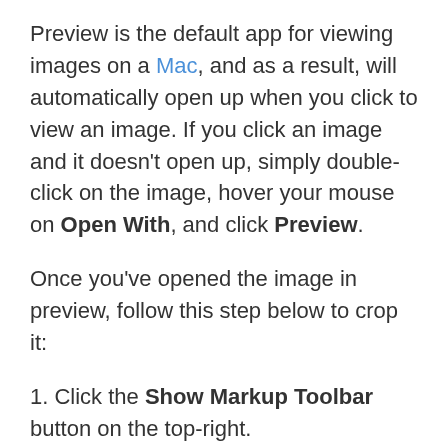Preview is the default app for viewing images on a Mac, and as a result, will automatically open up when you click to view an image. If you click an image and it doesn't open up, simply double-click on the image, hover your mouse on Open With, and click Preview.
Once you've opened the image in preview, follow this step below to crop it:
1. Click the Show Markup Toolbar button on the top-right.
2. Select and drag the area of the